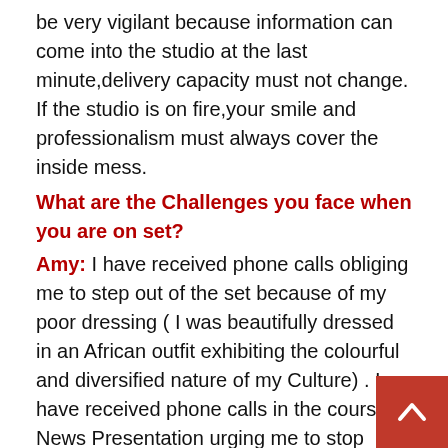be very vigilant because information can come into the studio at the last minute,delivery capacity must not change. If the studio is on fire,your smile and professionalism must always cover the inside mess.
What are the Challenges you face when you are on set?
Amy: I have received phone calls obliging me to step out of the set because of my poor dressing ( I was beautifully dressed in an African outfit exhibiting the colourful and diversified nature of my Culture) . I have received phone calls in the course of News Presentation urging me to stop wearing village,better still Bamenda in quotes hairstyles. I'm cut off on several counts when I am elaborately explaining an issue of concern to the public.If I have to tell you all the Challenges NexDim,we may spend the whole day on that. I must confirms it hurts but makes me bigger and stronger because I'm neither